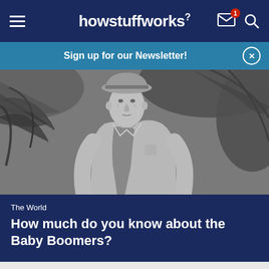howstuffworks
Sign up for our Newsletter!
[Figure (photo): Black and white photograph of an elderly man wearing a hat and light-colored open shirt, standing outdoors surrounded by tropical foliage and palm leaves]
The World
How much do you know about the Baby Boomers?